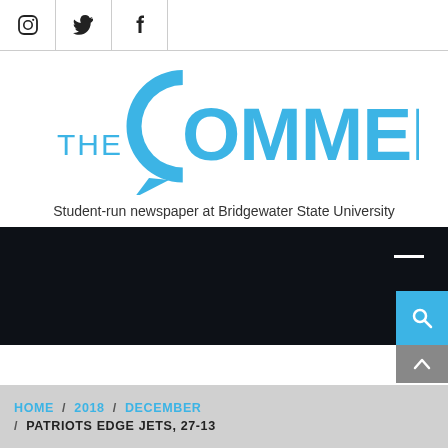[Figure (logo): Social media icons bar with Instagram, Twitter, and Facebook icons]
[Figure (logo): The Comment newspaper logo - large blue speech-bubble C with text OMMENT and THE to the left, student-run newspaper at Bridgewater State University]
Student-run newspaper at Bridgewater State University
[Figure (screenshot): Dark navigation banner with a white dash menu icon and a cyan search button]
HOME / 2018 / DECEMBER / PATRIOTS EDGE JETS, 27-13